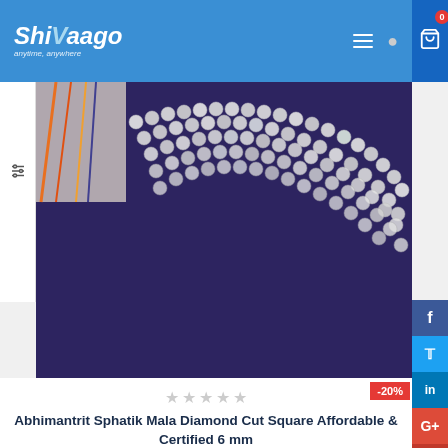Shivaago - anytime, anywhere
[Figure (photo): Crystal bead mala/rosary on purple fabric background, top portion of product image]
Abhimantrit Sphatik Mala Diamond Cut Square Affordable & Certified 6 mm
₹4,501.00  ₹3,601.00 inc.GST
ADD TO CART
[Figure (photo): Second product - crystal mala on purple background with -20% discount badge]